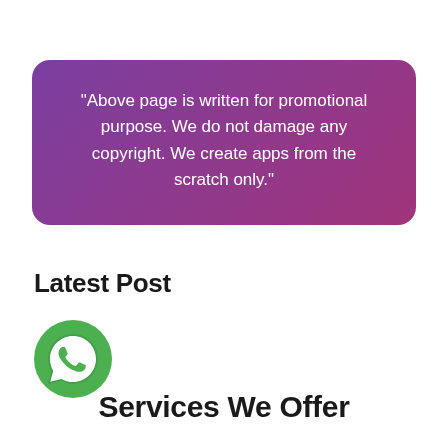"Above page is written for promotional purpose. We do not damage any copyright. We create apps from the scratch only."
Latest Post
[Figure (logo): WhatsApp logo - green circle with white phone/chat icon]
Services We Offer